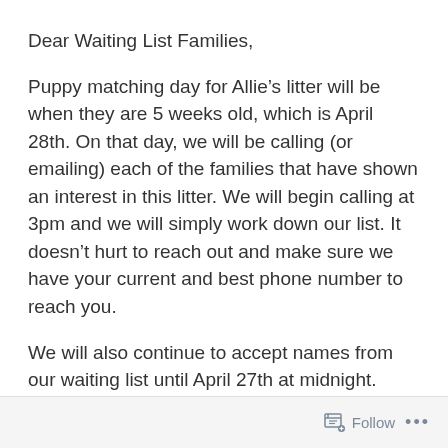Dear Waiting List Families,
Puppy matching day for Allie’s litter will be when they are 5 weeks old, which is April 28th. On that day, we will be calling (or emailing) each of the families that have shown an interest in this litter. We will begin calling at 3pm and we will simply work down our list. It doesn’t hurt to reach out and make sure we have your current and best phone number to reach you.
We will also continue to accept names from our waiting list until April 27th at midnight. Right now, the following people have reached out to me about these pups:
#3 Lori B
Follow ...